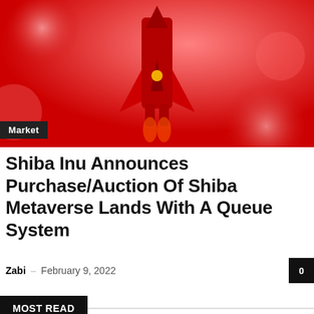[Figure (photo): Red-tinted image of a space shuttle model launching, with bokeh background and red color overlay]
Market
Shiba Inu Announces Purchase/Auction Of Shiba Metaverse Lands With A Queue System
Zabi – February 9, 2022
0
MOST READ
Cryptocurrency Projects To Withstand The Bear Market Privatixy Token And